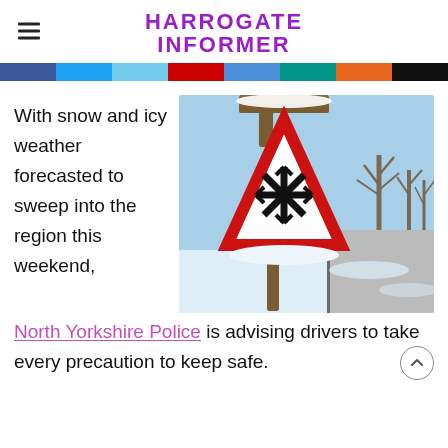HARROGATE INFORMER
[Figure (photo): A warning road sign for ice/snow (red triangle with snowflake symbol) covered in snow, in front of a snowy road scene with bare winter trees in the background.]
With snow and icy weather forecasted to sweep into the region this weekend, North Yorkshire Police is advising drivers to take every precaution to keep safe.